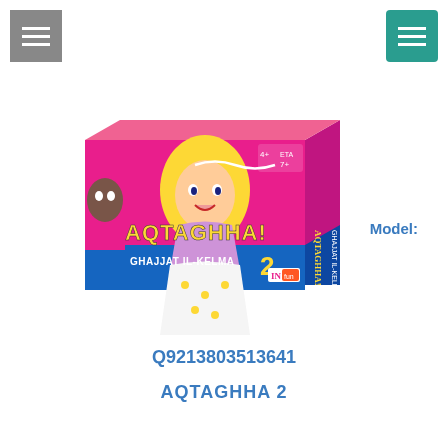[Figure (photo): Gray hamburger menu icon button in top left corner]
[Figure (photo): Teal/green hamburger menu icon button in top right corner]
[Figure (photo): Product box of Aqtaghha! Ghajjat Il-Kelma 2 board game with pop-art style illustration of a blonde woman, pink and blue box design]
Model:
Q9213803513641
AQTAGHHA 2